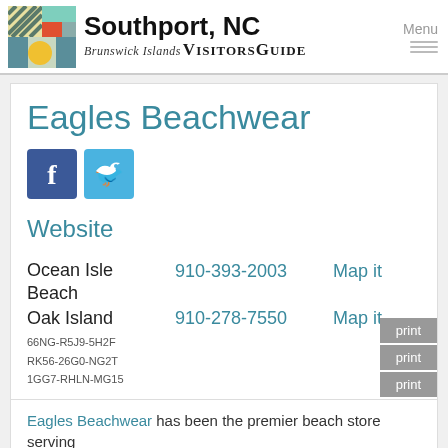Southport, NC Brunswick Islands VisitorsGuide
Eagles Beachwear
Website
Ocean Isle Beach  910-393-2003  Map it
Oak Island  910-278-7550  Map it
66NG-R5J9-5H2F
RK56-26G0-NG2T
1GG7-RHLN-MG15
print
print
print
Eagles Beachwear has been the premier beach store serving